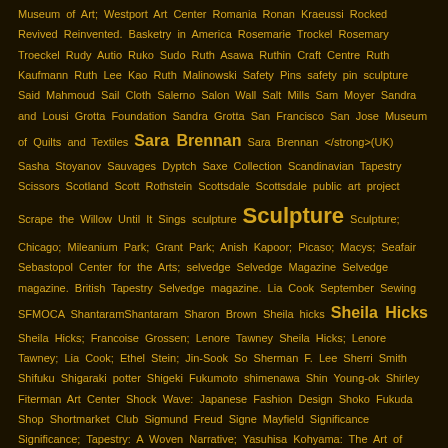Museum of Art; Westport Art Center Romania Ronan Kraeussi Rocked Revived Reinvented. Basketry in America Rosemarie Trockel Rosemary Troeckel Rudy Autio Ruko Sudo Ruth Asawa Ruthin Craft Centre Ruth Kaufmann Ruth Lee Kao Ruth Malinowski Safety Pins safety pin sculpture Said Mahmoud Sail Cloth Salerno Salon Wall Salt Mills Sam Moyer Sandra and Lousi Grotta Foundation Sandra Grotta San Francisco San Jose Museum of Quilts and Textiles Sara Brennan Sara Brennan </strong>(UK) Sasha Stoyanov Sauvages Dyptch Saxe Collection Scandinavian Tapestry Scissors Scotland Scott Rothstein Scottsdale Scottsdale public art project Scrape the Willow Until It Sings sculpture Sculpture Sculpture; Chicago; Mileanium Park; Grant Park; Anish Kapoor; Picaso; Macys; Seafair Sebastopol Center for the Arts; selvedge Selvedge Magazine Selvedge magazine. British Tapestry Selvedge magazine. Lia Cook September Sewing SFMOCA ShantaramShantaram Sharon Brown Sheila hicks Sheila Hicks Sheila Hicks; Francoise Grossen; Lenore Tawney Sheila Hicks; Lenore Tawney; Lia Cook; Ethel Stein; Jin-Sook So Sherman F. Lee Sherri Smith Shifuku Shigaraki potter Shigeki Fukumoto shimenawa Shin Young-ok Shirley Fiterman Art Center Shock Wave: Japanese Fashion Design Shoko Fukuda Shop Shortmarket Club Sigmund Freud Signe Mayfield Significance Significance; Tapestry: A Woven Narrative; Yasuhisa Kohyama: The Art of Ceramics silk Simone Pheulpin Simplicity sisal Slovenian Textile Smithsonian American Art Museum Snow Farm SOFA SOFA CHICAGO SOFA Chicago 2016 SOFA Chicago Floorplan SOFA NY SOFA West Soft Sculpture